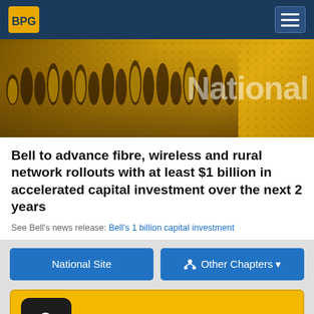[Figure (screenshot): BPG logo on dark blue navigation bar with hamburger menu icon on right]
[Figure (photo): Hero banner with group of people in yellow and dark clothing, golden background with 'National' text overlay]
Bell to advance fibre, wireless and rural network rollouts with at least $1 billion in accelerated capital investment over the next 2 years
See Bell's news release: Bell's 1 billion capital investment
National Site
Other Chapters
Become a member
Resources for BPG Branches/Clubs